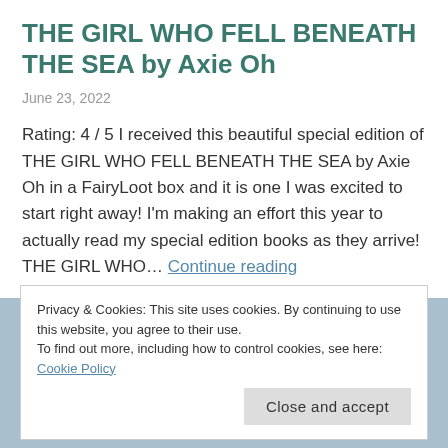THE GIRL WHO FELL BENEATH THE SEA by Axie Oh
June 23, 2022
Rating: 4 / 5 I received this beautiful special edition of THE GIRL WHO FELL BENEATH THE SEA by Axie Oh in a FairyLoot box and it is one I was excited to start right away! I'm making an effort this year to actually read my special edition books as they arrive! THE GIRL WHO… Continue reading
Privacy & Cookies: This site uses cookies. By continuing to use this website, you agree to their use.
To find out more, including how to control cookies, see here: Cookie Policy
Close and accept